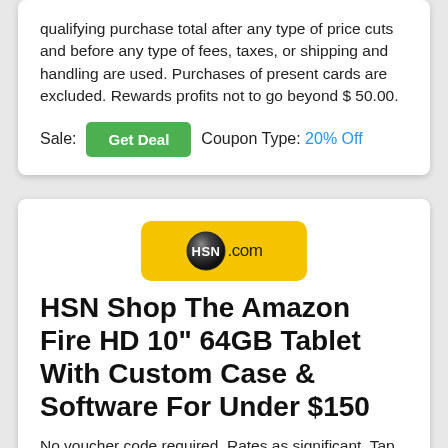qualifying purchase total after any type of price cuts and before any type of fees, taxes, or shipping and handling are used. Purchases of present cards are excluded. Rewards profits not to go beyond $ 50.00.
Sale: [Get Deal] Coupon Type: 20% Off
[Figure (logo): HSN.com logo on yellow background]
HSN Shop The Amazon Fire HD 10" 64GB Tablet With Custom Case & Software For Under $150
No voucher code required. Rates as significant. Tap to go shopping the sale currently.
Sale: [Get Deal]